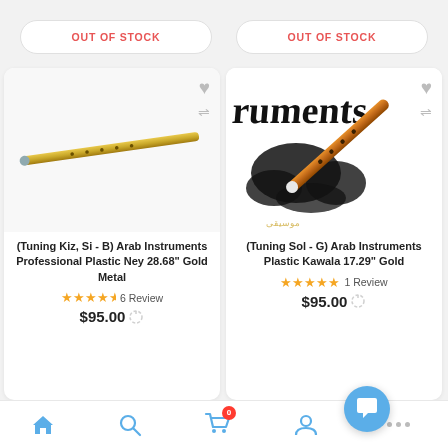OUT OF STOCK
OUT OF STOCK
[Figure (photo): Gold metal plastic ney flute on white background]
(Tuning Kiz, Si - B) Arab Instruments Professional Plastic Ney 28.68" Gold Metal
★★★★½ 6 Review $95.00
[Figure (photo): Orange/brown plastic kawala flute on Arabic calligraphy background]
(Tuning Sol - G) Arab Instruments Plastic Kawala 17.29" Gold
★★★★★ 1 Review $95.00